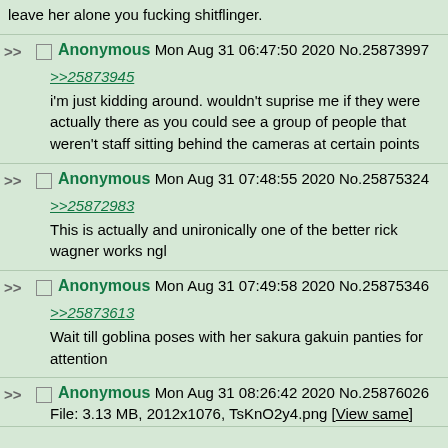leave her alone you fucking shitflinger.
Anonymous Mon Aug 31 06:47:50 2020 No.25873997
>>25873945
i'm just kidding around. wouldn't suprise me if they were actually there as you could see a group of people that weren't staff sitting behind the cameras at certain points
Anonymous Mon Aug 31 07:48:55 2020 No.25875324
>>25872983
This is actually and unironically one of the better rick wagner works ngl
Anonymous Mon Aug 31 07:49:58 2020 No.25875346
>>25873613
Wait till goblina poses with her sakura gakuin panties for attention
Anonymous Mon Aug 31 08:26:42 2020 No.25876026
File: 3.13 MB, 2012x1076, TsKnO2y4.png [View same]